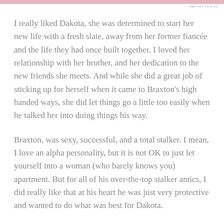REPORT THIS AD
I really liked Dakota, she was determined to start her new life with a fresh slate, away from her former fiancée and the life they had once built together. I loved her relationship with her brother, and her dedication to the new friends she meets. And while she did a great job of sticking up for herself when it came to Braxton's high handed ways, she did let things go a little too easily when he talked her into doing things his way.
Braxton, was sexy, successful, and a total stalker. I mean, I love an alpha personality, but it is not OK to just let yourself into a woman (who barely knows you) apartment. But for all of his over-the-top stalker antics, I did really like that at his heart he was just very protective and wanted to do what was best for Dakota.